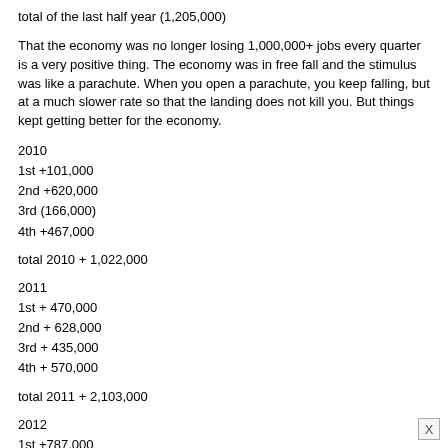total of the last half year (1,205,000)
That the economy was no longer losing 1,000,000+ jobs every quarter is a very positive thing. The economy was in free fall and the stimulus was like a parachute. When you open a parachute, you keep falling, but at a much slower rate so that the landing does not kill you. But things kept getting better for the economy.
2010
1st +101,000
2nd +620,000
3rd (166,000)
4th +467,000
total 2010 + 1,022,000
2011
1st + 470,000
2nd + 628,000
3rd + 435,000
4th + 570,000
total 2011 + 2,103,000
2012
1st +787,000
2nd +324,000